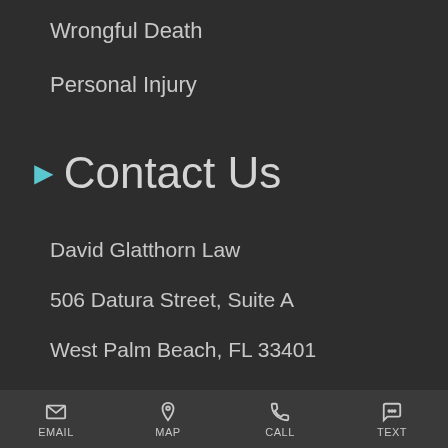Wrongful Death
Personal Injury
▶ Contact Us
David Glatthorn Law
506 Datura Street, Suite A
West Palm Beach, FL 33401
Phone: 561-659-1999
EMAIL   MAP   CALL   TEXT